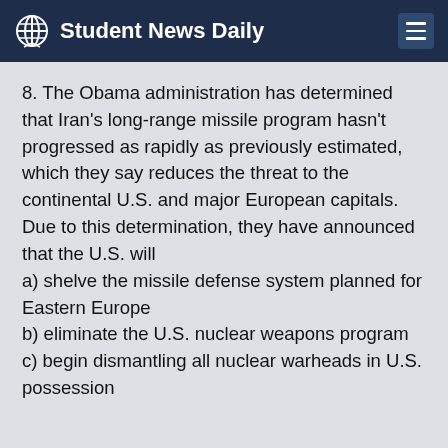Student News Daily
8. The Obama administration has determined that Iran's long-range missile program hasn't progressed as rapidly as previously estimated, which they say reduces the threat to the continental U.S. and major European capitals. Due to this determination, they have announced that the U.S. will
a) shelve the missile defense system planned for Eastern Europe
b) eliminate the U.S. nuclear weapons program
c) begin dismantling all nuclear warheads in U.S. possession